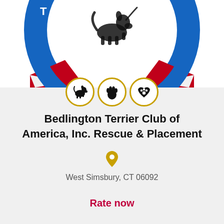[Figure (logo): Partial Bedlington Terrier Club of America, Inc. circular logo with blue border, red ribbon, and dog silhouette in center. Three icon circles below: dog silhouette, paw hand, and heart with paw.]
Bedlington Terrier Club of America, Inc. Rescue & Placement
West Simsbury, CT 06092
Rate now